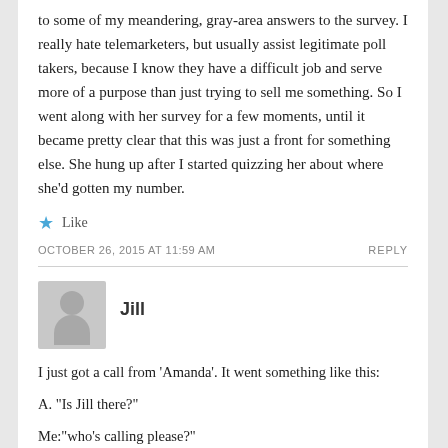to some of my meandering, gray-area answers to the survey. I really hate telemarketers, but usually assist legitimate poll takers, because I know they have a difficult job and serve more of a purpose than just trying to sell me something. So I went along with her survey for a few moments, until it became pretty clear that this was just a front for something else. She hung up after I started quizzing her about where she'd gotten my number.
★ Like
OCTOBER 26, 2015 AT 11:59 AM    REPLY
Jill
I just got a call from 'Amanda'. It went something like this:
A. "Is Jill there?"
Me:"who's calling please?"
A:.....